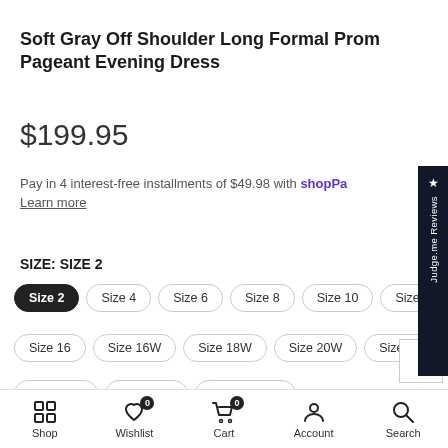Soft Gray Off Shoulder Long Formal Prom Pageant Evening Dress
$199.95
Pay in 4 interest-free installments of $49.98 with shop Pay Learn more
SIZE: SIZE 2
Size 2
Size 4
Size 6
Size 8
Size 10
Size 12
Size 14
Size 16
Size 16W
Size 18W
Size 20W
Size 22W
Size 24W
Size 26W
Custom Size
Shop | Wishlist | Cart | Account | Search